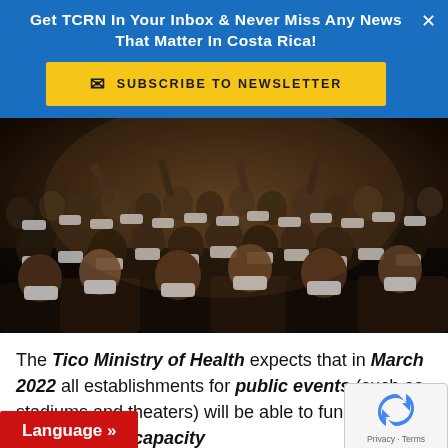Get TCRN In Your Inbox & Never Miss Any News That Matter In Costa Rica!
SUBSCRIBE TO NEWSLETTER
[Figure (photo): A large crowd of people wearing white face masks at a public event or concert, densely packed together. Some are raising their hands.]
The Tico Ministry of Health expects that in March 2022 all establishments for public events (such as stadiums and theaters) will be able to function at 100% of their capacity